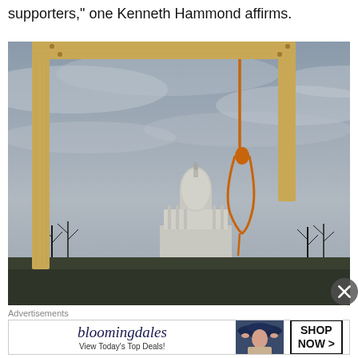supporters," one Kenneth Hammond affirms.
[Figure (photo): A wooden gallows structure with an orange noose hanging from it, photographed against an overcast gray sky. In the background, the United States Capitol building dome is visible, along with bare winter trees.]
Advertisements
[Figure (other): Bloomingdale's advertisement banner. Shows the Bloomingdale's logo in dark navy italic script, tagline 'View Today's Top Deals!', image of a woman in a wide-brimmed navy hat, and a 'SHOP NOW >' button with black border.]